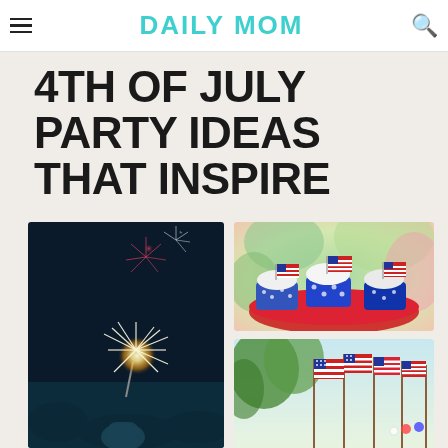DAILY MOM
4TH OF JULY PARTY IDEAS THAT INSPIRE
[Figure (photo): Person holding a sparkler at night with fireworks in the background]
[Figure (photo): Patriotic cupcakes in blue star-spangled wrappers topped with American flags on a red plate]
[Figure (photo): American flags outdoors with colorful decorations]